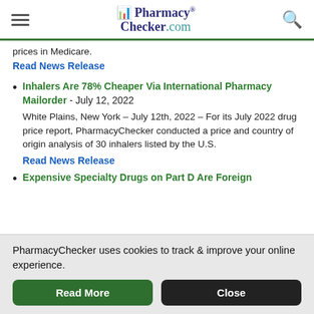PharmacyChecker.com
prices in Medicare.
Read News Release
Inhalers Are 78% Cheaper Via International Pharmacy Mailorder - July 12, 2022
White Plains, New York – July 12th, 2022 – For its July 2022 drug price report, PharmacyChecker conducted a price and country of origin analysis of 30 inhalers listed by the U.S.
Read News Release
Expensive Specialty Drugs on Part D Are Foreign
PharmacyChecker uses cookies to track & improve your online experience.